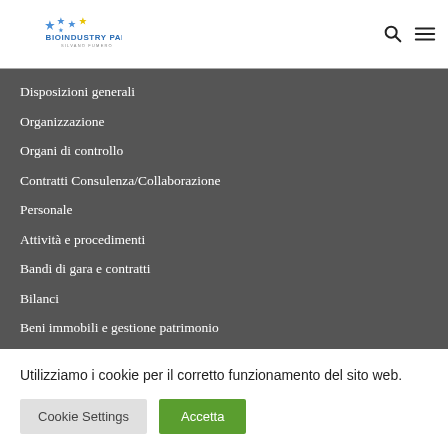[Figure (logo): Bioindustry Park Silvano Fumero logo with blue and yellow stars]
Disposizioni generali
Organizzazione
Organi di controllo
Contratti Consulenza/Collaborazione
Personale
Attività e procedimenti
Bandi di gara e contratti
Bilanci
Beni immobili e gestione patrimonio
BioPmed
Altri contenuti - Anticorruzione
Utilizziamo i cookie per il corretto funzionamento del sito web.
Cookie Settings  Accetta